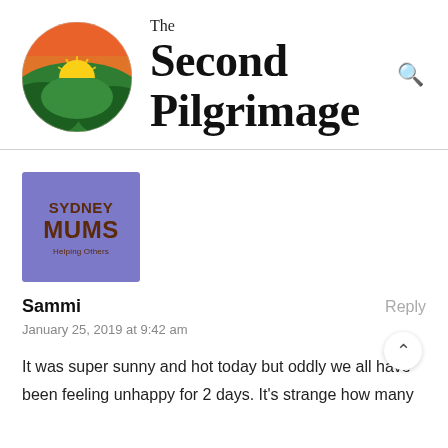[Figure (logo): The Second Pilgrimage website header with a circular logo (sunset landscape illustration with orange/green/yellow colors) and site name 'The Second Pilgrimage' in serif font, with a search icon on the right]
[Figure (logo): Sydney Mums - Helping Others avatar/badge in purple/mauve square with dark brown text]
Sammi
Reply
January 25, 2019 at 9:42 am
It was super sunny and hot today but oddly we all have been feeling unhappy for 2 days. It's strange how many